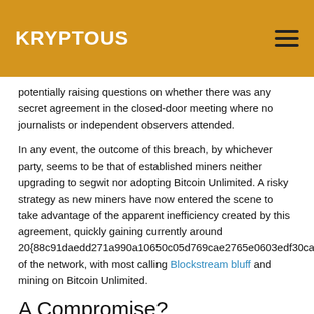KRYPTOUS
potentially raising questions on whether there was any secret agreement in the closed-door meeting where no journalists or independent observers attended.
In any event, the outcome of this breach, by whichever party, seems to be that of established miners neither upgrading to segwit nor adopting Bitcoin Unlimited. A risky strategy as new miners have now entered the scene to take advantage of the apparent inefficiency created by this agreement, quickly gaining currently around 20{88c91daedd271a990a10650c05d769cae2765e0603edf30ca95f18704e5748e8} of the network, with most calling Blockstream bluff and mining on Bitcoin Unlimited.
A Compromise?
A potential compromise would be on the basis of a maxblocksize increase to 4MB, which a scientific study has found to be safe, together with segwit as a hard fork, both deployed at the same time.